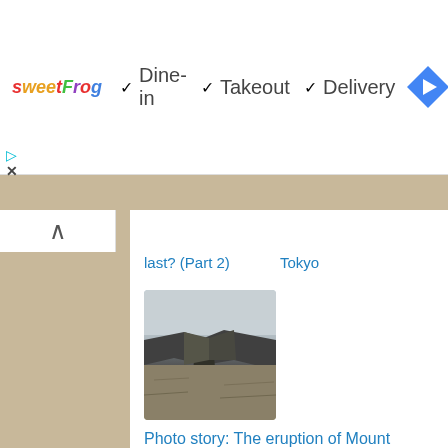[Figure (screenshot): SweetFrog advertisement banner with logo and service options: Dine-in, Takeout, Delivery with checkmarks, and a Google Maps navigation icon]
last? (Part 2)      Tokyo
[Figure (photo): Photo of a volcanic eruption landscape showing Mount Bromo's crater and barren terrain in foggy conditions]
Photo story: The eruption of Mount Bromo in 2010
Did you like this article? Share it with your friends!
Tweet